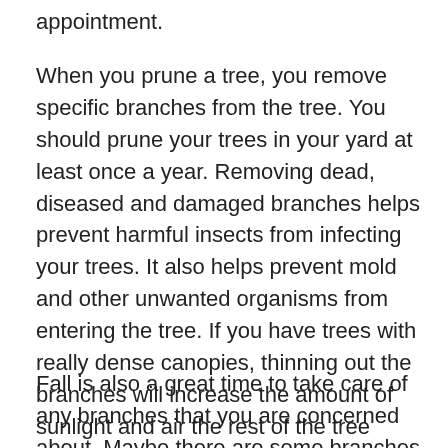appointment.
When you prune a tree, you remove specific branches from the tree. You should prune your trees in your yard at least once a year. Removing dead, diseased and damaged branches helps prevent harmful insects from infecting your trees. It also helps prevent mold and other unwanted organisms from entering the tree. If you have trees with really dense canopies, thinning out the branches will increase the amount of sunlight and air the rest of the tree receives. This will keep your trees healthy and prevent your trees from contracting diseases.
Fall is also a great time to take care of any branches that you are concerned about. Maybe there are some branches that are hanging over your house that you